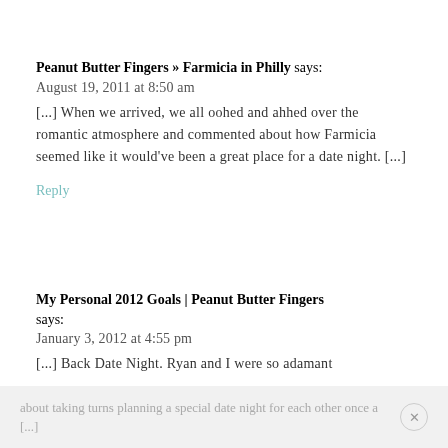Peanut Butter Fingers » Farmicia in Philly says:
August 19, 2011 at 8:50 am
[...] When we arrived, we all oohed and ahhed over the romantic atmosphere and commented about how Farmicia seemed like it would've been a great place for a date night. [...]
Reply
My Personal 2012 Goals | Peanut Butter Fingers says:
January 3, 2012 at 4:55 pm
[...] Back Date Night. Ryan and I were so adamant
about taking turns planning a special date night for each other once a [...]